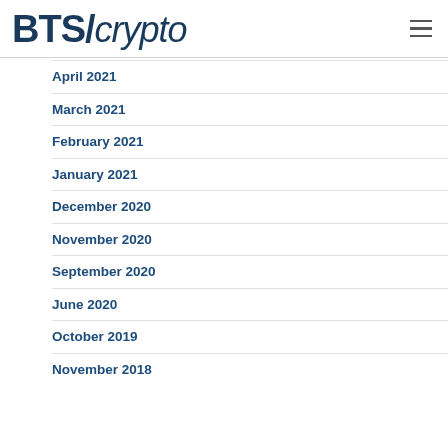BTS/crypto
April 2021
March 2021
February 2021
January 2021
December 2020
November 2020
September 2020
June 2020
October 2019
November 2018